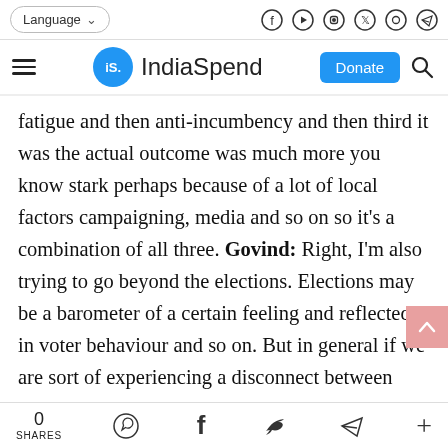Language | [social icons] IndiaSpend | Donate
fatigue and then anti-incumbency and then third it was the actual outcome was much more you know stark perhaps because of a lot of local factors campaigning, media and so on so it's a combination of all three. Govind: Right, I'm also trying to go beyond the elections. Elections may be a barometer of a certain feeling and reflected in voter behaviour and so on. But in general if we are sort of experiencing a disconnect between where we thought we were
0 SHARES [WhatsApp] [Facebook] [Twitter] [Telegram] [+]